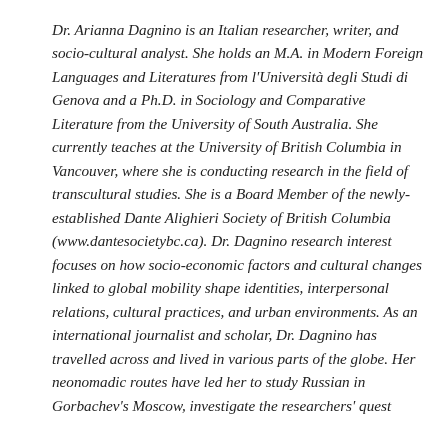Dr. Arianna Dagnino is an Italian researcher, writer, and socio-cultural analyst. She holds an M.A. in Modern Foreign Languages and Literatures from l'Università degli Studi di Genova and a Ph.D. in Sociology and Comparative Literature from the University of South Australia. She currently teaches at the University of British Columbia in Vancouver, where she is conducting research in the field of transcultural studies. She is a Board Member of the newly-established Dante Alighieri Society of British Columbia (www.dantesocietybc.ca). Dr. Dagnino research interest focuses on how socio-economic factors and cultural changes linked to global mobility shape identities, interpersonal relations, cultural practices, and urban environments. As an international journalist and scholar, Dr. Dagnino has travelled across and lived in various parts of the globe. Her neonomadic routes have led her to study Russian in Gorbachev's Moscow, investigate the researchers' quest